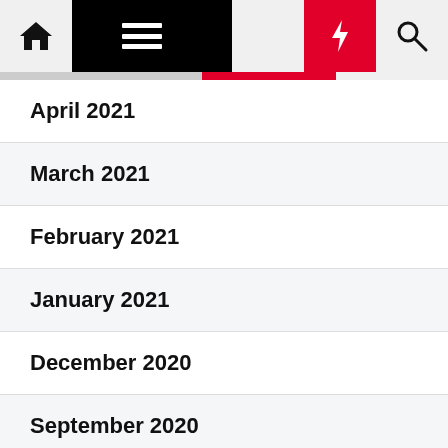Navigation bar with home, menu, moon, bolt, and search icons
April 2021
March 2021
February 2021
January 2021
December 2020
September 2020
August 2020
July 2020
June 2020